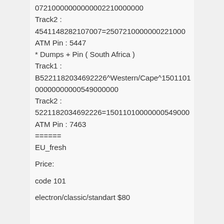07210000000000002210000000
Track2 : 4541148282107007=2507210000000221000
ATM Pin : 5447
* Dumps + Pin ( South Africa )
Track1 : B5221182034692226^Western/Cape^1501101 00000000000549000000
Track2 : 5221182034692226=15011010000000549000
ATM Pin : 7463
======
EU_fresh
Price:
code 101
electron/classic/standart $80